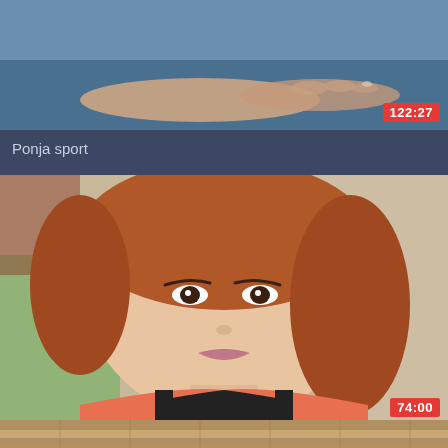[Figure (photo): Partial view of a person lying on a blue surface with hands visible, video thumbnail]
Ponja sport
[Figure (photo): Close-up photo of an Asian woman with reddish-brown hair wearing a pink and black sports top, video thumbnail]
ha na gyung korean nymph health trainer teach how to hook-up gym
[Figure (photo): Partially visible video thumbnail at bottom of page]